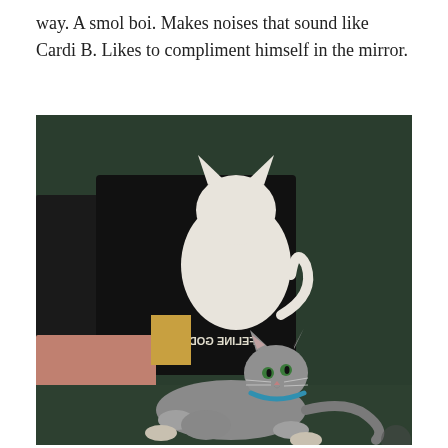way. A smol boi. Makes noises that sound like Cardi B. Likes to compliment himself in the mirror.
[Figure (photo): A gray cat with a blue collar lounging on a dark green couch. Above the cat, a person wearing a black t-shirt with a cat print (text reads 'FELINE GOD' in reverse) and salmon/pink shorts is visible. The cat is looking upward toward the camera.]